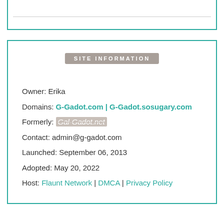SITE INFORMATION
Owner: Erika
Domains: G-Gadot.com | G-Gadot.sosugary.com
Formerly: Gal-Gadot.net
Contact: admin@g-gadot.com
Launched: September 06, 2013
Adopted: May 20, 2022
Host: Flaunt Network | DMCA | Privacy Policy